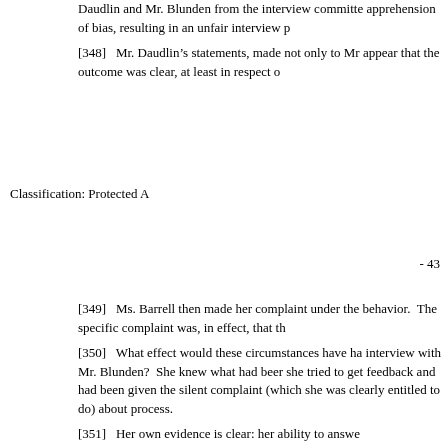Daudlin and Mr. Blunden from the interview committee, apprehension of bias, resulting in an unfair interview p
[348]   Mr. Daudlin's statements, made not only to Mr appear that the outcome was clear, at least in respect o
Classification: Protected A
- 43
[349]   Ms. Barrell then made her complaint under the behavior.  The specific complaint was, in effect, that th
[350]   What effect would these circumstances have ha interview with Mr. Blunden?  She knew what had beer she tried to get feedback and had been given the silent complaint (which she was clearly entitled to do) about process.
[351]   Her own evidence is clear: her ability to answe